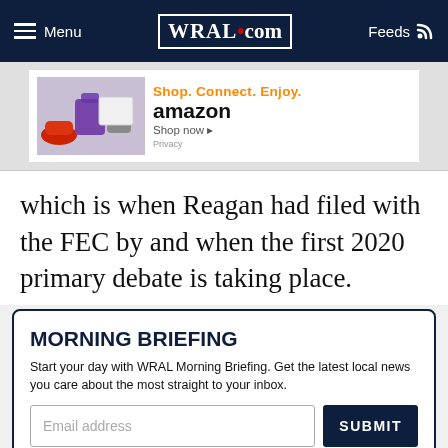Menu | WRAL.com | Feeds
[Figure (screenshot): Amazon advertisement banner: Shop. Connect. Enjoy. amazon Shop now. Privacy.]
which is when Reagan had filed with the FEC by and when the first 2020 primary debate is taking place.
MORNING BRIEFING
Start your day with WRAL Morning Briefing. Get the latest local news you care about the most straight to your inbox.
Email address  SUBMIT
SUGGEST A CORRECTION